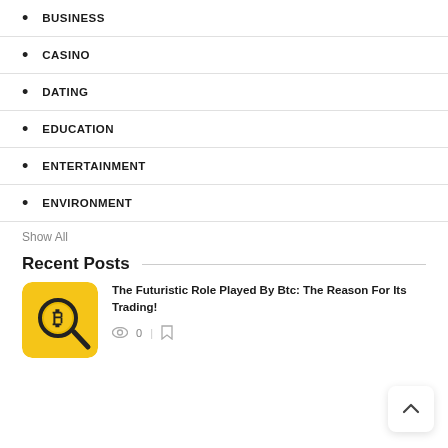BUSINESS
CASINO
DATING
EDUCATION
ENTERTAINMENT
ENVIRONMENT
Show All
Recent Posts
[Figure (photo): Yellow square icon with a Bitcoin symbol on a magnifying glass]
The Futuristic Role Played By Btc: The Reason For Its Trading!
0